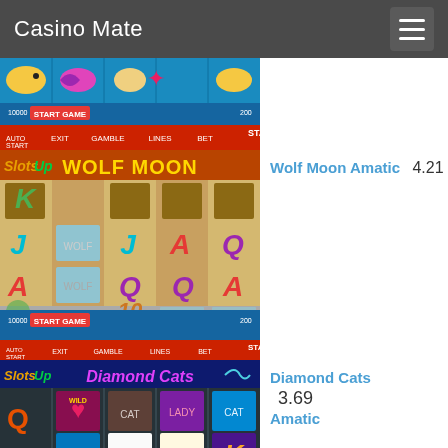Casino Mate
[Figure (screenshot): Wolf Moon Amatic slot game screenshot showing reels with K, J, A, Q, 10 symbols and wolf imagery on blue/orange background]
Wolf Moon Amatic  4.21
[Figure (screenshot): Diamond Cats Amatic slot game screenshot showing reels with Q, K and cat imagery on dark background]
Diamond Cats Amatic  3.69